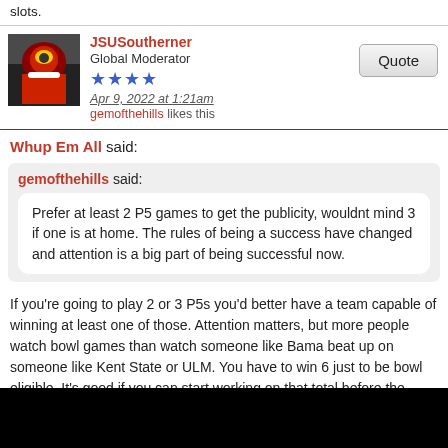slots.
JSUSoutherner
Global Moderator
Apr 9, 2022 at 1:21am
gemofthehills likes this
Whup Em All said:
gemofthehills said:
Prefer at least 2 P5 games to get the publicity, wouldnt mind 3 if one is at home. The rules of being a success have changed and attention is a big part of being successful now.
If you're going to play 2 or 3 P5s you'd better have a team capable of winning at least one of those. Attention matters, but more people watch bowl games than watch someone like Bama beat up on someone like Kent State or ULM. You have to win 6 just to be bowl eligible. It's good if you can start working on that total before the conference portion of your schedule begins.
The occasional home contest against a P5 is an entirely different animal. If a Mississippi State or Army plays in Burgess-Snow, casual